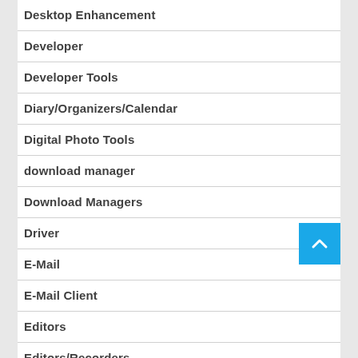Desktop Enhancement
Developer
Developer Tools
Diary/Organizers/Calendar
Digital Photo Tools
download manager
Download Managers
Driver
E-Mail
E-Mail Client
Editors
Editors/Recorders